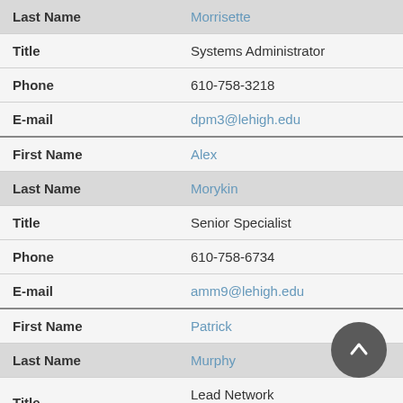| Field | Value |
| --- | --- |
| Last Name | Morrisette |
| Title | Systems Administrator |
| Phone | 610-758-3218 |
| E-mail | dpm3@lehigh.edu |
| First Name | Alex |
| Last Name | Morykin |
| Title | Senior Specialist |
| Phone | 610-758-6734 |
| E-mail | amm9@lehigh.edu |
| First Name | Patrick |
| Last Name | Murphy |
| Title | Lead Network Technician |
| Phone | 610-758-5380 |